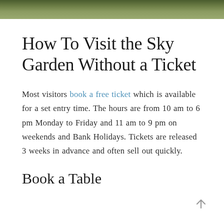[Figure (photo): Top strip of a garden photo showing grass and foliage in dark green tones]
How To Visit the Sky Garden Without a Ticket
Most visitors book a free ticket which is available for a set entry time. The hours are from 10 am to 6 pm Monday to Friday and 11 am to 9 pm on weekends and Bank Holidays. Tickets are released 3 weeks in advance and often sell out quickly.
Book a Table